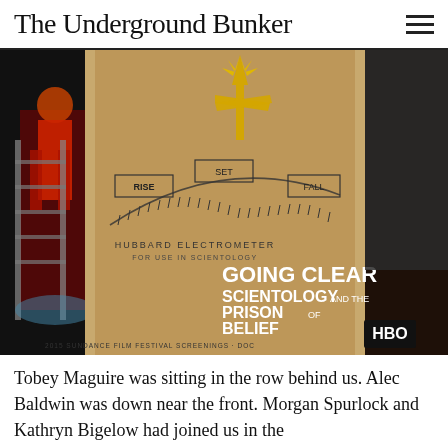The Underground Bunker
[Figure (photo): Photo of movie poster for 'Going Clear: Scientology and the Prison of Belief' (HBO documentary) featuring a Hubbard Electrometer dial graphic and 2015 Sundance Film Festival Screenings text, alongside what appears to be another poster with a person on a ladder.]
Tobey Maguire was sitting in the row behind us. Alec Baldwin was down near the front. Morgan Spurlock and Kathryn Bigelow had joined us in the